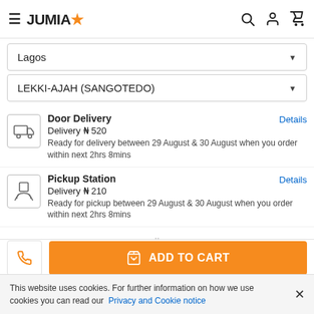JUMIA
Lagos
LEKKI-AJAH (SANGOTEDO)
Door Delivery
Delivery ₦ 520
Ready for delivery between 29 August & 30 August when you order within next 2hrs 8mins
Pickup Station
Delivery ₦ 210
Ready for pickup between 29 August & 30 August when you order within next 2hrs 8mins
ADD TO CART
This website uses cookies. For further information on how we use cookies you can read our Privacy and Cookie notice